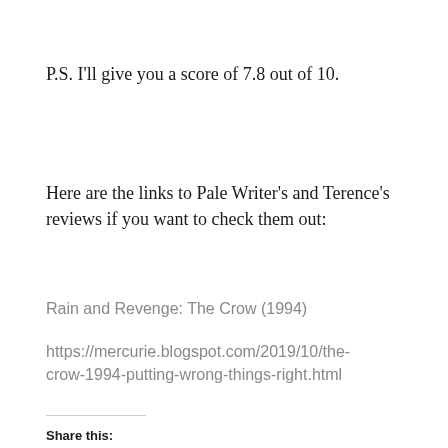P.S. I'll give you a score of 7.8 out of 10.
Here are the links to Pale Writer's and Terence's reviews if you want to check them out:
Rain and Revenge: The Crow (1994)
https://mercurie.blogspot.com/2019/10/the-crow-1994-putting-wrong-things-right.html
Share this: